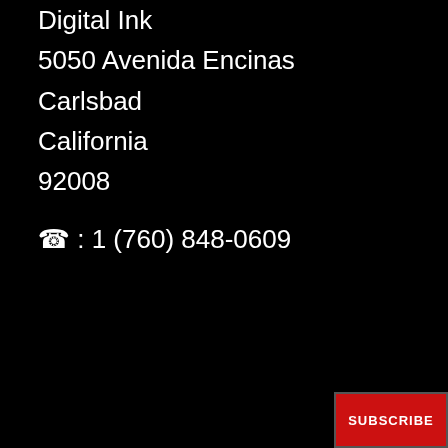Digital Ink
5050 Avenida Encinas
Carlsbad
California
92008

☎ : 1 (760) 848-0609
SUBSCRIBE